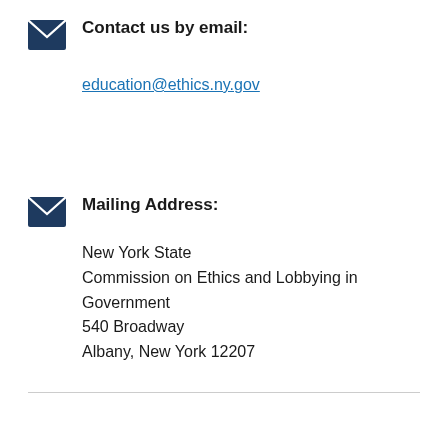Contact us by email:
education@ethics.ny.gov
Mailing Address:
New York State
Commission on Ethics and Lobbying in Government
540 Broadway
Albany, New York 12207